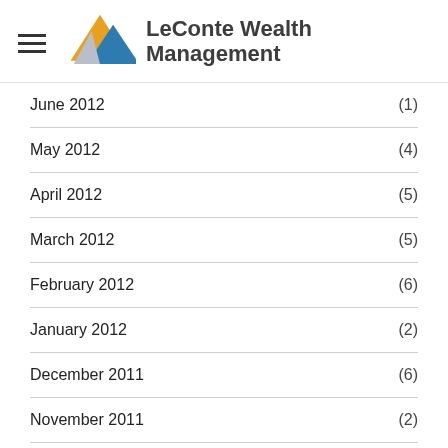[Figure (logo): LeConte Wealth Management logo with mountain/triangle graphic in orange and blue]
June 2012 (1)
May 2012 (4)
April 2012 (5)
March 2012 (5)
February 2012 (6)
January 2012 (2)
December 2011 (6)
November 2011 (2)
October 2011 (1)